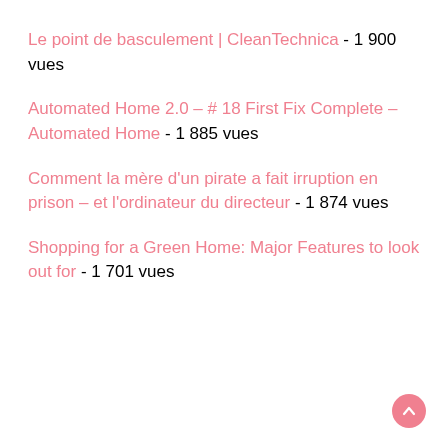Le point de basculement | CleanTechnica - 1 900 vues
Automated Home 2.0 – # 18 First Fix Complete – Automated Home - 1 885 vues
Comment la mère d'un pirate a fait irruption en prison – et l'ordinateur du directeur - 1 874 vues
Shopping for a Green Home:  Major Features to look out for - 1 701 vues